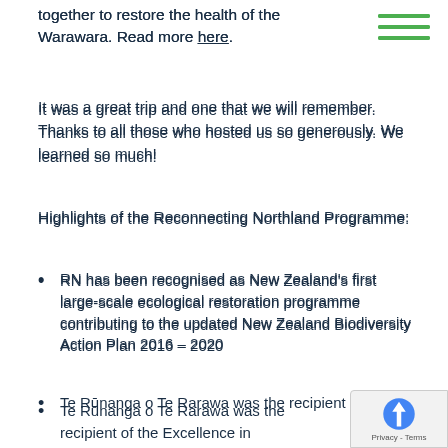together to restore the health of the Warawara. Read more here.
It was a great trip and one that we will remember. Thanks to all those who hosted us so generously. We learned so much!
Highlights of the Reconnecting Northland Programme:
RN has been recognised as New Zealand's first large-scale ecological restoration programme contributing to the updated New Zealand Biodiversity Action Plan 2016 – 2020
Te Rūnanga o Te Rarawa was the recipient of the Excellence in Environmental Management and Awareness Award for the Warawara Whakaora Ake Project.
RN was the 2016 Green Ribbon Award reci… for the Philanthropy and Partnership cate…
RN acknowledged by MfE in their "30-years of…